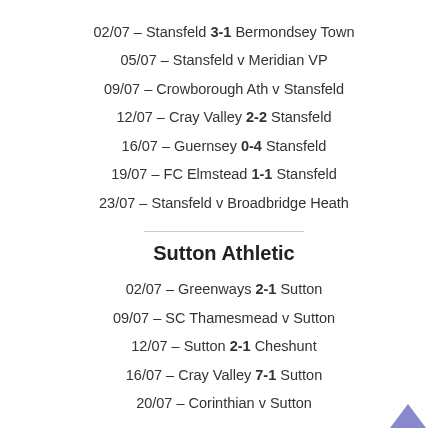02/07 – Stansfeld 3-1 Bermondsey Town
05/07 – Stansfeld v Meridian VP
09/07 – Crowborough Ath v Stansfeld
12/07 – Cray Valley 2-2 Stansfeld
16/07 – Guernsey 0-4 Stansfeld
19/07 – FC Elmstead 1-1 Stansfeld
23/07 – Stansfeld v Broadbridge Heath
Sutton Athletic
02/07 – Greenways 2-1 Sutton
09/07 – SC Thamesmead v Sutton
12/07 – Sutton 2-1 Cheshunt
16/07 – Cray Valley 7-1 Sutton
20/07 – Corinthian v Sutton